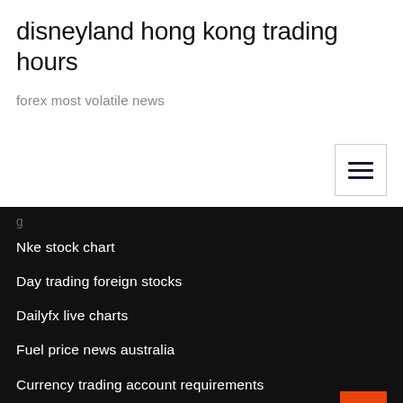disneyland hong kong trading hours
forex most volatile news
Nke stock chart
Day trading foreign stocks
Dailyfx live charts
Fuel price news australia
Currency trading account requirements
Is foreign currency trading legal
Featured Posts